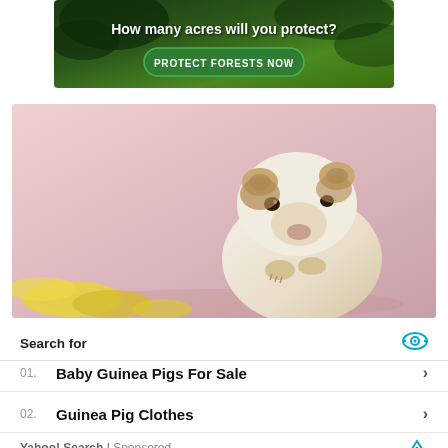[Figure (infographic): Forest protection advertisement banner with dark green background, text 'How many acres will you protect?' and green button 'PROTECT FORESTS NOW']
[Figure (photo): A white and brown guinea pig sitting on a pink background, eating/holding a red apple, with yellow fruit pieces in the foreground]
Search for
01. Baby Guinea Pigs For Sale
02. Guinea Pig Clothes
Yahoo! Search | Sponsored